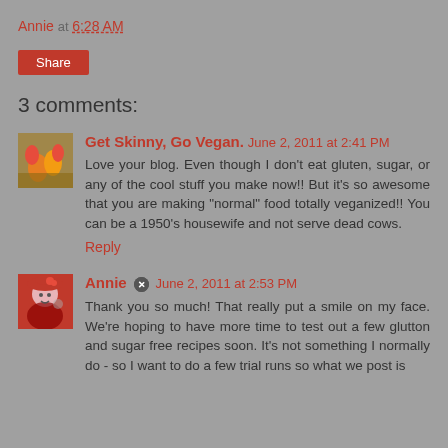Annie at 6:28 AM
Share
3 comments:
Get Skinny, Go Vegan. June 2, 2011 at 2:41 PM
Love your blog. Even though I don't eat gluten, sugar, or any of the cool stuff you make now!! But it's so awesome that you are making "normal" food totally veganized!! You can be a 1950's housewife and not serve dead cows.
Reply
Annie June 2, 2011 at 2:53 PM
Thank you so much! That really put a smile on my face. We're hoping to have more time to test out a few glutton and sugar free recipes soon. It's not something I normally do - so I want to do a few trial runs so what we post is